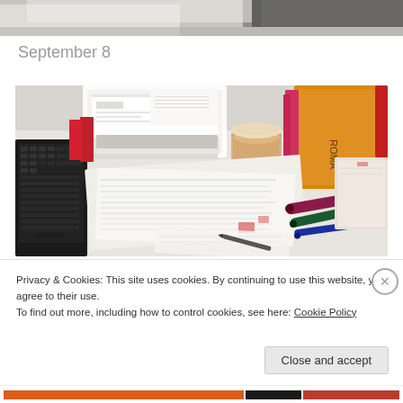[Figure (photo): Top portion of a desk scene, partially cropped at top of page showing papers and laptop.]
September 8
[Figure (photo): A cluttered desk with scattered papers and notebooks, a glass of iced coffee/milk tea, pens, and a laptop keyboard visible on the left side. Some books with text on the right side.]
Privacy & Cookies: This site uses cookies. By continuing to use this website, you agree to their use.
To find out more, including how to control cookies, see here: Cookie Policy